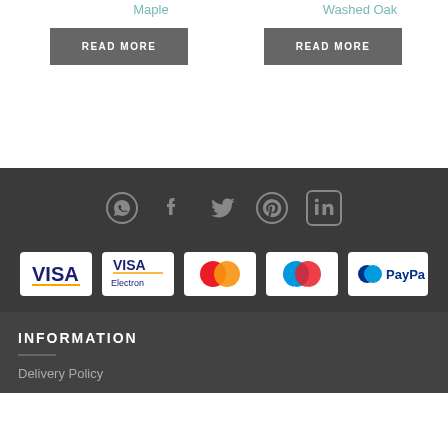Maple
Washed Oak
READ MORE
READ MORE
[Figure (infographic): Social media icons row: WhatsApp, Facebook, Twitter, Pinterest, LinkedIn — all in dark grey on dark background]
[Figure (infographic): Payment method logos: VISA, VISA Electron, MasterCard, Maestro, PayPal — white badge cards]
INFORMATION
Delivery Policy